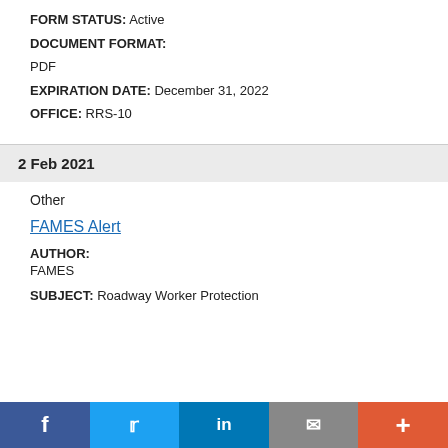FORM STATUS: Active
DOCUMENT FORMAT: PDF
EXPIRATION DATE: December 31, 2022
OFFICE: RRS-10
2 Feb 2021
Other
FAMES Alert
AUTHOR: FAMES
SUBJECT: Roadway Worker Protection